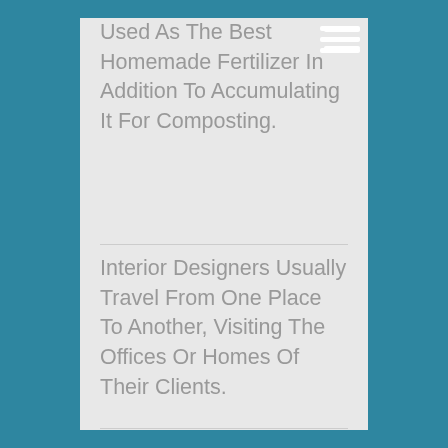Used As The Best Homemade Fertilizer In Addition To Accumulating It For Composting.
Interior Designers Usually Travel From One Place To Another, Visiting The Offices Or Homes Of Their Clients.
With The Use Of Corner Linen Cabinets, You Can Now Have The Storage Space That Is Desired For Your Bathroom Area.